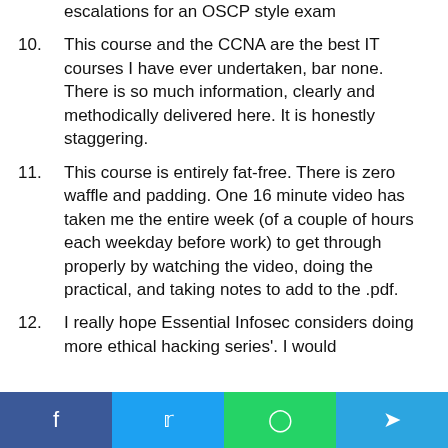(partial top) escalations for an OSCP style exam
10. This course and the CCNA are the best IT courses I have ever undertaken, bar none. There is so much information, clearly and methodically delivered here. It is honestly staggering.
11. This course is entirely fat-free. There is zero waffle and padding. One 16 minute video has taken me the entire week (of a couple of hours each weekday before work) to get through properly by watching the video, doing the practical, and taking notes to add to the .pdf.
12. I really hope Essential Infosec considers doing more ethical hacking series'. I would